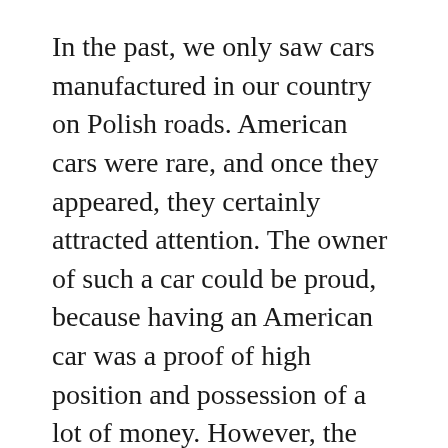In the past, we only saw cars manufactured in our country on Polish roads. American cars were rare, and once they appeared, they certainly attracted attention. The owner of such a car could be proud, because having an American car was a proof of high position and possession of a lot of money. However, the problem arose when the car broke down and special parts for US cars were needed. It wasn't that easy to get in the past.
Today you can see many American cars on Polish roads. It can be said that they